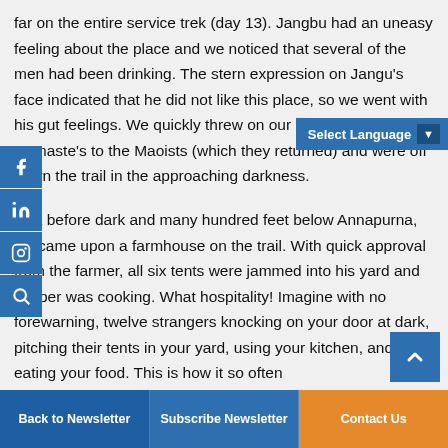far on the entire service trek (day 13). Jangbu had an uneasy feeling about the place and we noticed that several of the men had been drinking. The stern expression on Jangu's face indicated that he did not like this place, so we went with his gut feelings. We quickly threw on our packs, gave our Namaste's to the Maoists (which they returned) and were off down the trail in the approaching darkness.
Just before dark and many hundred feet below Annapurna, we came upon a farmhouse on the trail. With quick approval from the farmer, all six tents were jammed into his yard and supper was cooking. What hospitality! Imagine with no forewarning, twelve strangers knocking on your door at dark, pitching their tents in your yard, using your kitchen, and eating your food. This is how it so often
Back to Newsletter | Subscribe Newsletter | Contact Us